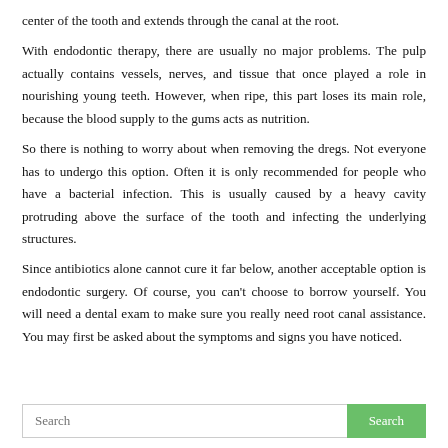center of the tooth and extends through the canal at the root.
With endodontic therapy, there are usually no major problems. The pulp actually contains vessels, nerves, and tissue that once played a role in nourishing young teeth. However, when ripe, this part loses its main role, because the blood supply to the gums acts as nutrition.
So there is nothing to worry about when removing the dregs. Not everyone has to undergo this option. Often it is only recommended for people who have a bacterial infection. This is usually caused by a heavy cavity protruding above the surface of the tooth and infecting the underlying structures.
Since antibiotics alone cannot cure it far below, another acceptable option is endodontic surgery. Of course, you can't choose to borrow yourself. You will need a dental exam to make sure you really need root canal assistance. You may first be asked about the symptoms and signs you have noticed.